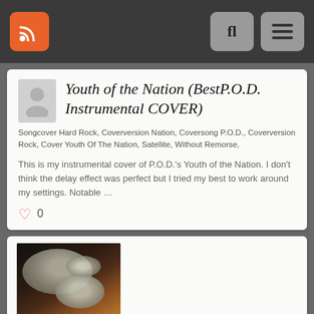Navigation bar with RSS icon and menu controls
Youth of the Nation (BestP.O.D. Instrumental COVER)
Songcover Hard Rock, Coverversion Nation, Coversong P.O.D., Coverversion Rock, Cover Youth Of The Nation, Satellite, Without Remorse,
This is my instrumental cover of P.O.D.'s Youth of the Nation. I don't think the delay effect was perfect but I tried my best to work around my settings. Notable …
♡ 0
[Figure (photo): Drum kit photo, dark background with cymbals and drums visible]